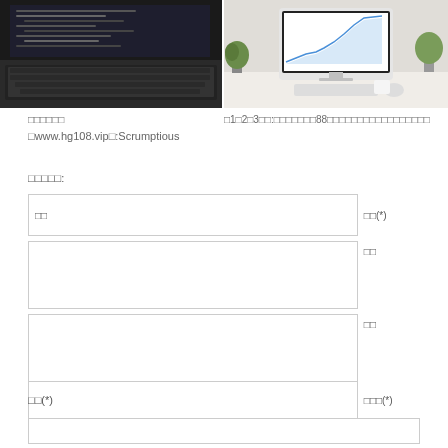[Figure (photo): Laptop with dark keyboard and code on screen]
[Figure (photo): iMac desktop with chart on screen, plants and office items on desk]
□□□□□□
□1□2□3□□:□□□□□□□88□□□□□□□□□□□□□□□□□
□www.hg108.vip□:Scrumptious
□□□□□:
|  | □□(*) |
| --- | --- |
| □□ |  |
|  | □□ |
|  | □□ |
|  | □□□(*) |
□□(*)
|  |